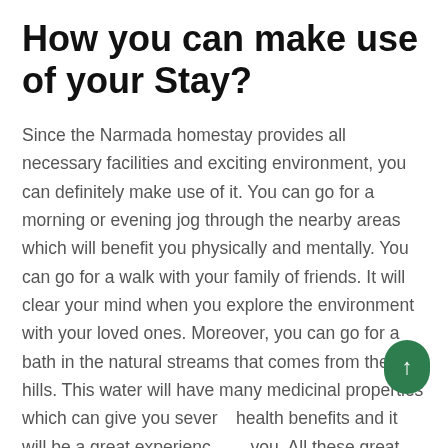How you can make use of your Stay?
Since the Narmada homestay provides all necessary facilities and exciting environment, you can definitely make use of it. You can go for a morning or evening jog through the nearby areas which will benefit you physically and mentally. You can go for a walk with your family of friends. It will clear your mind when you explore the environment with your loved ones. Moreover, you can go for a bath in the natural streams that comes from the hills. This water will have many medicinal properties which can give you several health benefits and it will be a great experience for you. All these great facilities and activities are making Narmada as the best place to stay near